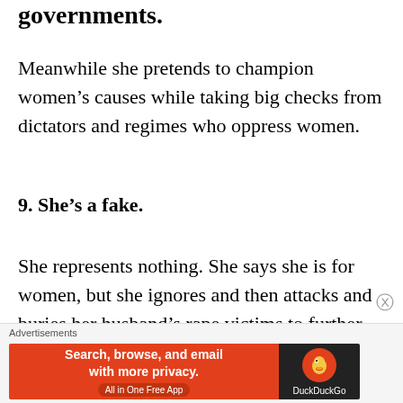governments.
Meanwhile she pretends to champion women’s causes while taking big checks from dictators and regimes who oppress women.
9. She’s a fake.
She represents nothing. She says she is for women, but she ignores and then attacks and buries her husband’s rape victims to further her own interests. She says she will
Advertisements